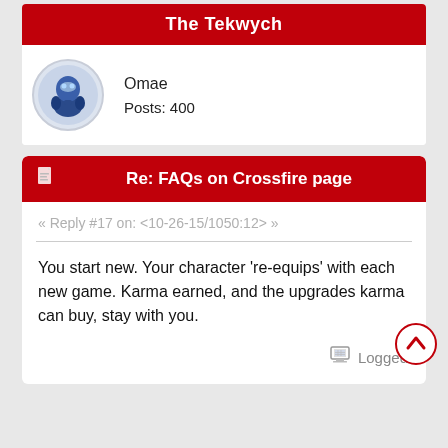The Tekwych
Omae
Posts: 400
Re: FAQs on Crossfire page
« Reply #17 on: <10-26-15/1050:12> »
You start new. Your character 're-equips' with each new game. Karma earned, and the upgrades karma can buy, stay with you.
Logged